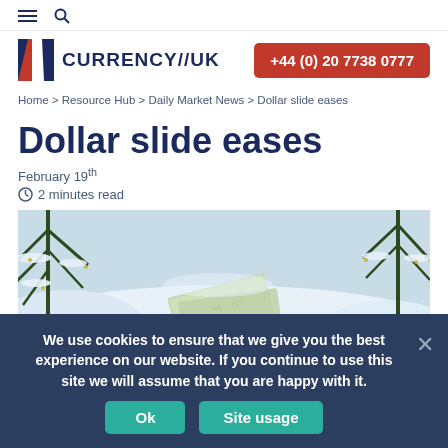CURRENCY//UK  +44 (0) 20 7738 0777
Home > Resource Hub > Daily Market News > Dollar slide eases
Dollar slide eases
February 19th
2 minutes read
[Figure (photo): Snow-covered pine branches with US dollar banknotes lying in the snow, winter finance concept image]
We use cookies to ensure that we give you the best experience on our website. If you continue to use this site we will assume that you are happy with it.